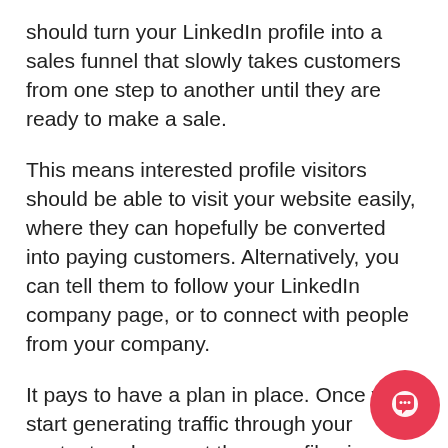should turn your LinkedIn profile into a sales funnel that slowly takes customers from one step to another until they are ready to make a sale.
This means interested profile visitors should be able to visit your website easily, where they can hopefully be converted into paying customers. Alternatively, you can tell them to follow your LinkedIn company page, or to connect with people from your company.
It pays to have a plan in place. Once you start generating traffic through your content and you get those profile views, you need to know exactly where to direct your audience to get the best chance of converting them.
These are some of the ways you can improve your lead generation through LinkedIn. If you want to make lead generation easier, try automating your